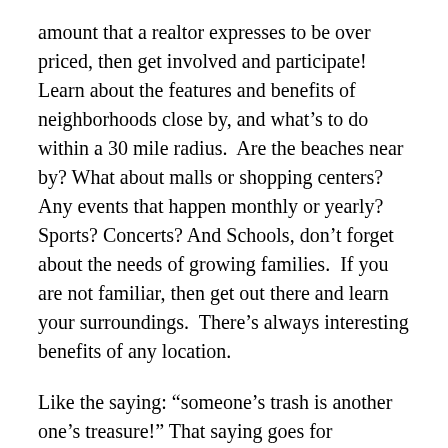amount that a realtor expresses to be over priced, then get involved and participate!  Learn about the features and benefits of neighborhoods close by, and what's to do within a 30 mile radius.  Are the beaches near by? What about malls or shopping centers? Any events that happen monthly or yearly? Sports? Concerts? And Schools, don't forget about the needs of growing families.  If you are not familiar, then get out there and learn your surroundings.  There's always interesting benefits of any location.
Like the saying: “someone’s trash is another one’s treasure!” That saying goes for Locations of real-estate properties as well, Somewhere out there, is a buyer that your home is Perfect for!
Example: Corner lot has 3 bed / 2 baths and is 2,000 sqft, and another property has 5 bed/ 4 baths, then